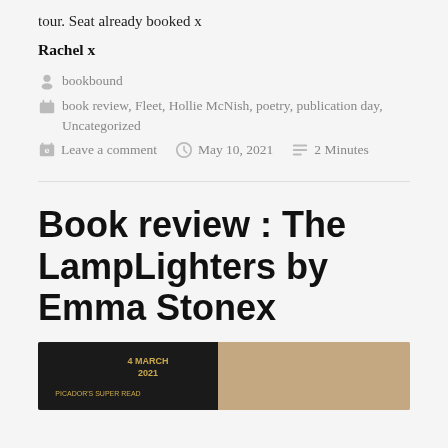tour. Seat already booked x
Rachel x
bookbound
book review, Fleet, Hollie McNish, poetry, publication day, Uncategorized
Leave a comment   May 10, 2021   2 Minutes
Book review : The LampLighters by Emma Stonex
[Figure (photo): Photo of a black book cover with gold text reading '4 MARCH 2021' and 'PICADOR'S SUPER READ']